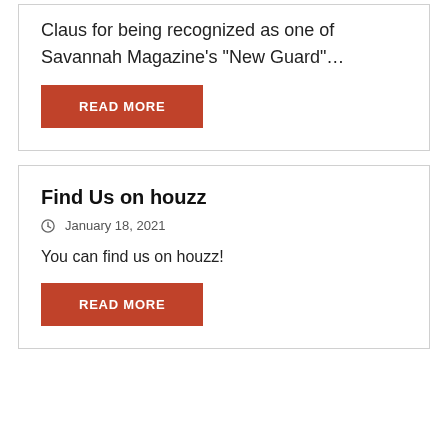Claus for being recognized as one of Savannah Magazine's "New Guard"…
READ MORE
Find Us on houzz
January 18, 2021
You can find us on houzz!
READ MORE